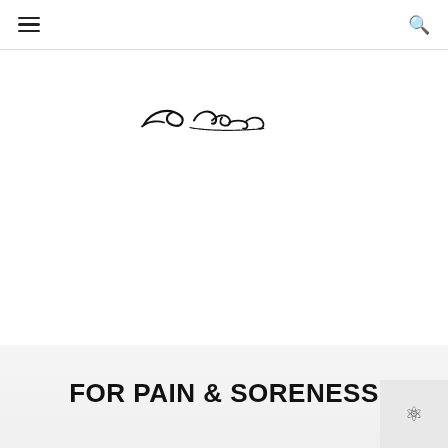[Figure (logo): Brand logo — cursive/handwritten style text logo, black on white]
FOR PAIN & SORENESS